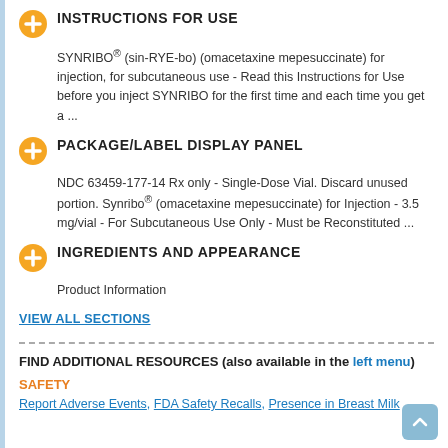INSTRUCTIONS FOR USE
SYNRIBO® (sin-RYE-bo) (omacetaxine mepesuccinate) for injection, for subcutaneous use - Read this Instructions for Use before you inject SYNRIBO for the first time and each time you get a ...
PACKAGE/LABEL DISPLAY PANEL
NDC 63459-177-14 Rx only - Single-Dose Vial. Discard unused portion. Synribo® (omacetaxine mepesuccinate) for Injection - 3.5 mg/vial - For Subcutaneous Use Only - Must be Reconstituted ...
INGREDIENTS AND APPEARANCE
Product Information
VIEW ALL SECTIONS
FIND ADDITIONAL RESOURCES (also available in the left menu)
SAFETY
Report Adverse Events, FDA Safety Recalls, Presence in Breast Milk